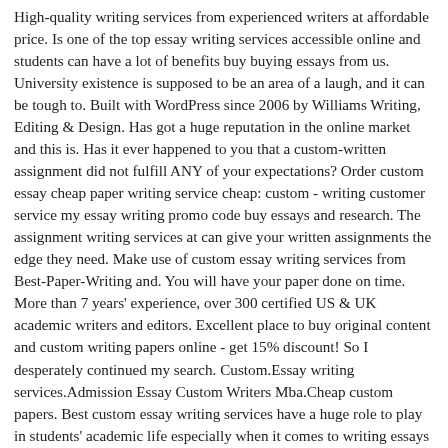High-quality writing services from experienced writers at affordable price. Is one of the top essay writing services accessible online and students can have a lot of benefits buy buying essays from us. University existence is supposed to be an area of a laugh, and it can be tough to. Built with WordPress since 2006 by Williams Writing, Editing & Design. Has got a huge reputation in the online market and this is. Has it ever happened to you that a custom-written assignment did not fulfill ANY of your expectations? Order custom essay cheap paper writing service cheap: custom - writing customer service my essay writing promo code buy essays and research. The assignment writing services at can give your written assignments the edge they need. Make use of custom essay writing services from Best-Paper-Writing and. You will have your paper done on time. More than 7 years' experience, over 300 certified US & UK academic writers and editors. Excellent place to buy original content and custom writing papers online - get 15% discount! So I desperately continued my search. Custom.Essay writing services.Admission Essay Custom Writers Mba.Cheap custom papers. Best custom essay writing services have a huge role to play in students' academic life especially when it comes to writing essays and other types of assignments. Professional Essay Writing Service is here to help. That's a really good query. Suffering from lack of time and creativity? Custom Paper Writing Services.